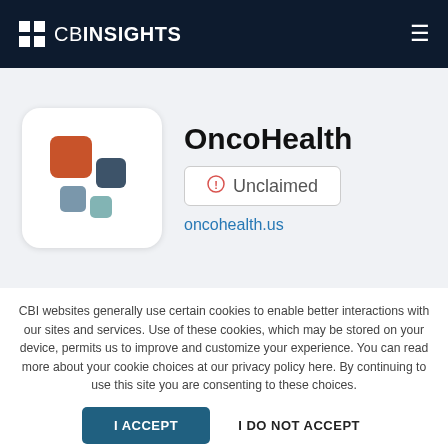CB INSIGHTS
[Figure (logo): OncoHealth company logo: four colored squares arranged in a 2x2 grid pattern — top-left orange, top-right dark slate, bottom-left light slate, bottom-right teal]
OncoHealth
⊙ Unclaimed
oncohealth.us
CBI websites generally use certain cookies to enable better interactions with our sites and services. Use of these cookies, which may be stored on your device, permits us to improve and customize your experience. You can read more about your cookie choices at our privacy policy here. By continuing to use this site you are consenting to these choices.
I ACCEPT
I DO NOT ACCEPT